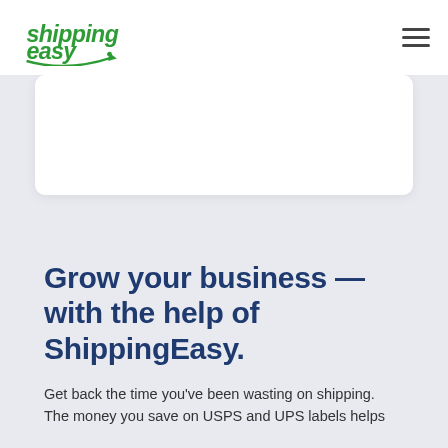[Figure (logo): ShippingEasy green logo with stylized text and arrow swoosh]
[Figure (other): Hamburger menu icon (three horizontal lines) in top right corner]
[Figure (other): White rounded rectangle card below navigation bar]
Grow your business — with the help of ShippingEasy.
Get back the time you've been wasting on shipping. The money you save on USPS and UPS labels helps